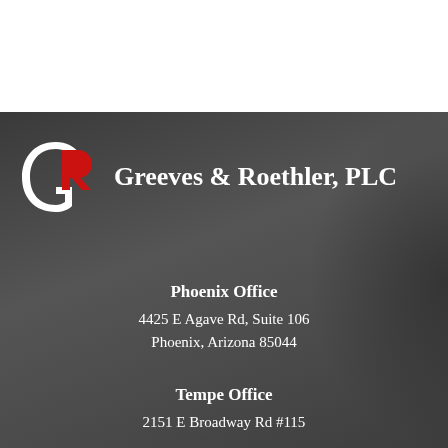[Figure (logo): Greeves & Roethler, PLC law firm logo with stylized G and R monogram in white and red on dark background, with firm name in white serif font]
Phoenix Office
4425 E Agave Rd, Suite 106
Phoenix, Arizona 85044
Tempe Office
2151 E Broadway Rd #115